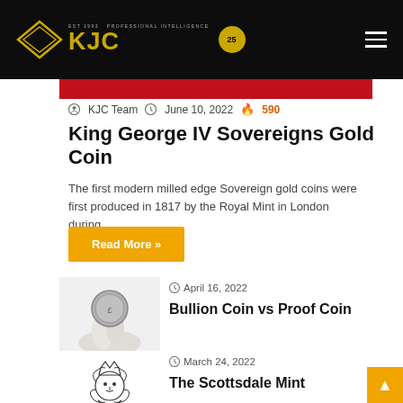KJC — Professional Intelligence (logo with 25 badge)
KJC Team  June 10, 2022  🔥 590
King George IV Sovereigns Gold Coin
The first modern milled edge Sovereign gold coins were first produced in 1817 by the Royal Mint in London during…
Read More »
April 16, 2022
Bullion Coin vs Proof Coin
March 24, 2022
The Scottsdale Mint